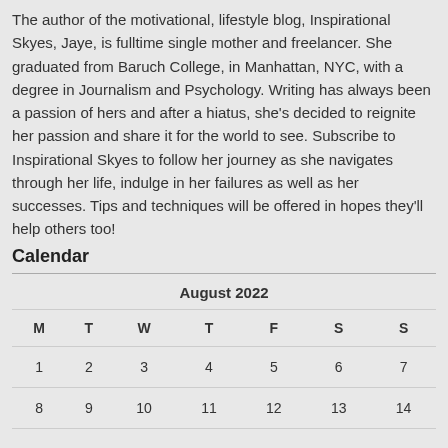The author of the motivational, lifestyle blog, Inspirational Skyes, Jaye, is fulltime single mother and freelancer. She graduated from Baruch College, in Manhattan, NYC, with a degree in Journalism and Psychology. Writing has always been a passion of hers and after a hiatus, she's decided to reignite her passion and share it for the world to see. Subscribe to Inspirational Skyes to follow her journey as she navigates through her life, indulge in her failures as well as her successes. Tips and techniques will be offered in hopes they'll help others too!
Calendar
| M | T | W | T | F | S | S |
| --- | --- | --- | --- | --- | --- | --- |
| 1 | 2 | 3 | 4 | 5 | 6 | 7 |
| 8 | 9 | 10 | 11 | 12 | 13 | 14 |